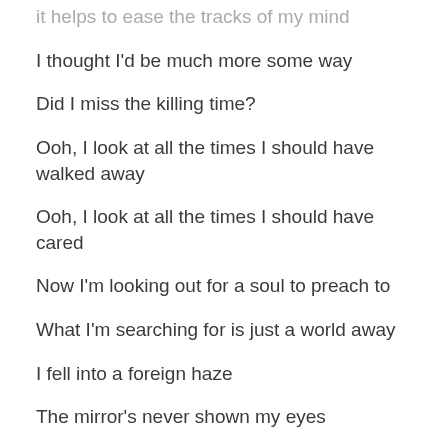it helps to ease the tracks of my mind
I thought I'd be much more some way
Did I miss the killing time?
Ooh, I look at all the times I should have walked away
Ooh, I look at all the times I should have cared
Now I'm looking out for a soul to preach to
What I'm searching for is just a world away
I fell into a foreign haze
The mirror's never shown my eyes